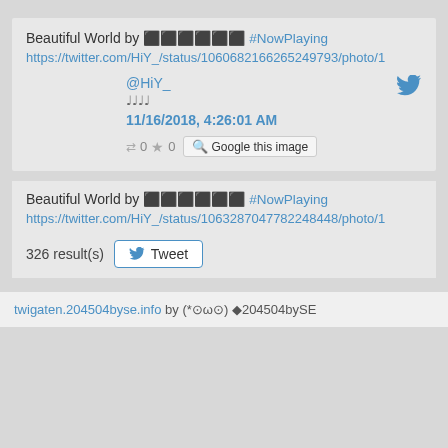Beautiful World by 💿💿💿💿💿💿 #NowPlaying https://twitter.com/HiY_/status/1060682166265249793/photo/1
@HiY_ ♪♪♪♪ 11/16/2018, 4:26:01 AM 0 0 Google this image
Beautiful World by 💿💿💿💿💿💿 #NowPlaying https://twitter.com/HiY_/status/1063287047782248448/photo/1
326 result(s) Tweet
twigaten.204504byse.info by ‍(*⊙ω⊙) ◆204504bySE